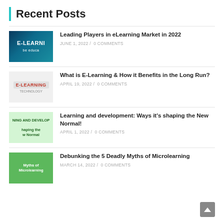Recent Posts
Leading Players in eLearning Market in 2022 | JUNE 1, 2022 / 0 COMMENTS
What is E-Learning & How it Benefits in the Long Run? | APRIL 19, 2022 / 0 COMMENTS
Learning and development: Ways it's shaping the New Normal! | APRIL 1, 2022 / 0 COMMENTS
Debunking the 5 Deadly Myths of Microlearning | MARCH 14, 2022 / 0 COMMENTS